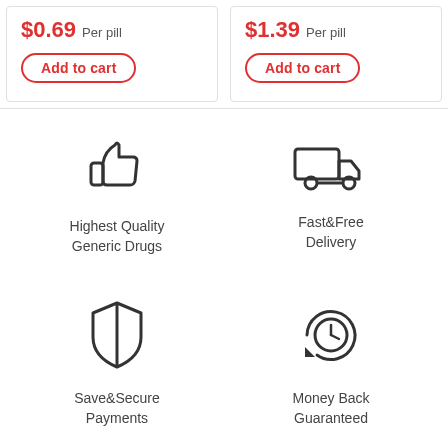$0.69 Per pill
Add to cart
$1.39 Per pill
Add to cart
[Figure (illustration): Thumbs up icon]
Highest Quality Generic Drugs
[Figure (illustration): Delivery truck icon]
Fast&Free Delivery
[Figure (illustration): Shield icon]
Save&Secure Payments
[Figure (illustration): Clock with refresh arrow icon]
Money Back Guaranteed